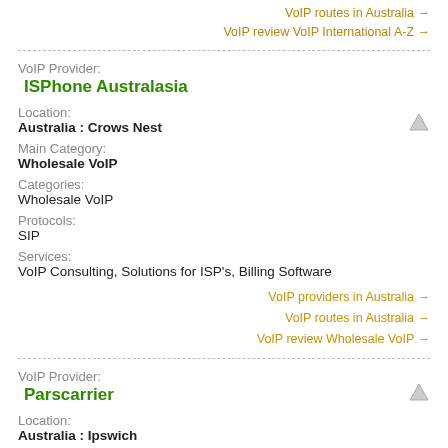VoIP routes in Australia →
VoIP review VoIP International A-Z →
VoIP Provider:
ISPhone Australasia
Location:
Australia : Crows Nest
Main Category:
Wholesale VoIP
Categories:
Wholesale VoIP
Protocols:
SIP
Services:
VoIP Consulting, Solutions for ISP's, Billing Software
VoIP providers in Australia →
VoIP routes in Australia →
VoIP review Wholesale VoIP →
VoIP Provider:
Parscarrier
Location:
Australia : Ipswich
Main Category: